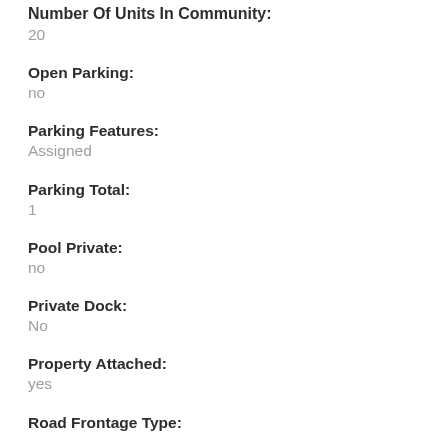Number Of Units In Community:
20
Open Parking:
no
Parking Features:
Assigned
Parking Total:
1
Pool Private:
no
Private Dock:
No
Property Attached:
yes
Road Frontage Type: